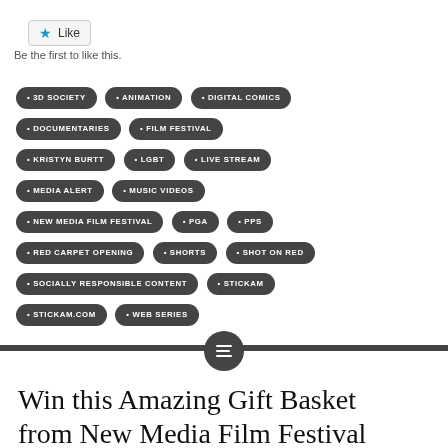[Figure (other): Like button UI element with star icon]
Be the first to like this.
3D SOCIETY
ANIMATION
DIGITAL COMICS
DOCUMENTARIES
FILM FESTIVAL
KRISTYN BURTT
LGBT
LIVE STREAM
MEDIA ALERT
MUSIC VIDEOS
NEW MEDIA FILM FESTIVAL
PGA
PPS
RED CARPET OPENING
SHORTS
SHOT ON RED
SOCIALLY RESPONSIBLE CONTENT
STICKAM
STICKAM.COM
WEB SERIES
Win this Amazing Gift Basket from New Media Film Festival